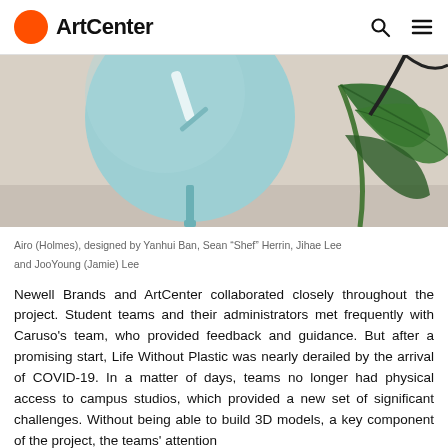ArtCenter
[Figure (photo): A close-up photograph of a mint/teal circular clock design (Airo/Holmes) mounted on a slim stand, with a large tropical leaf plant visible in the background on the right side.]
Airo (Holmes), designed by Yanhui Ban, Sean “Shef” Herrin, Jihae Lee and JooYoung (Jamie) Lee
Newell Brands and ArtCenter collaborated closely throughout the project. Student teams and their administrators met frequently with Caruso’s team, who provided feedback and guidance. But after a promising start, Life Without Plastic was nearly derailed by the arrival of COVID-19. In a matter of days, teams no longer had physical access to campus studios, which provided a new set of significant challenges. Without being able to build 3D models, a key component of the project, the teams’ attention